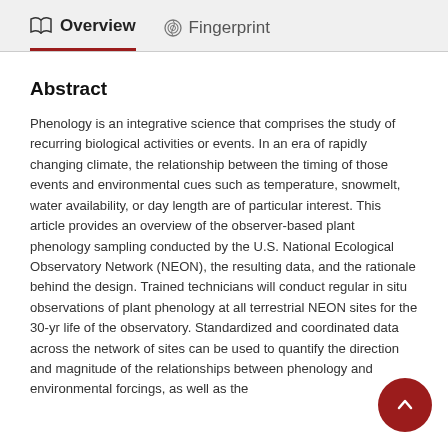Overview   Fingerprint
Abstract
Phenology is an integrative science that comprises the study of recurring biological activities or events. In an era of rapidly changing climate, the relationship between the timing of those events and environmental cues such as temperature, snowmelt, water availability, or day length are of particular interest. This article provides an overview of the observer-based plant phenology sampling conducted by the U.S. National Ecological Observatory Network (NEON), the resulting data, and the rationale behind the design. Trained technicians will conduct regular in situ observations of plant phenology at all terrestrial NEON sites for the 30-yr life of the observatory. Standardized and coordinated data across the network of sites can be used to quantify the direction and magnitude of the relationships between phenology and environmental forcings, as well as the